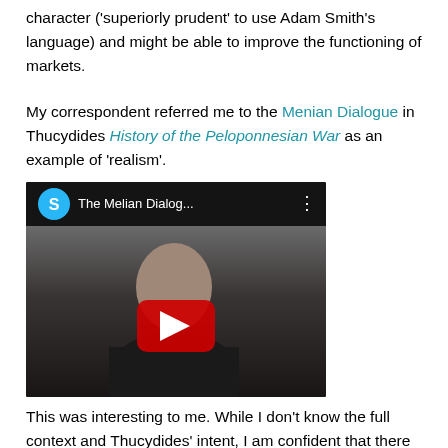character ('superiorly prudent' to use Adam Smith's language) and might be able to improve the functioning of markets.
My correspondent referred me to the Menian Dialogue in Thucydides History of the Peloponnesian War as an example of 'realism'.
[Figure (screenshot): YouTube video thumbnail showing 'The Melian Dialog...' with a person being interviewed, a red play button in the center, and a YouTube-style top bar with a blue S avatar.]
This was interesting to me. While I don't know the full context and Thucydides' intent, I am confident that there is a widely held view that the behaviour of the Athenian negotiators was an example of hubris; the Menian negotiator even notes that the advantages had been their idea. They also met defeat of